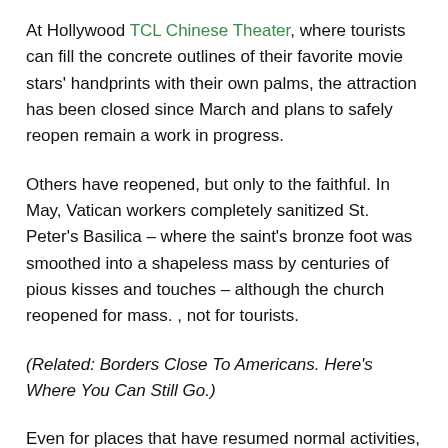At Hollywood TCL Chinese Theater, where tourists can fill the concrete outlines of their favorite movie stars' handprints with their own palms, the attraction has been closed since March and plans to safely reopen remain a work in progress.
Others have reopened, but only to the faithful. In May, Vatican workers completely sanitized St. Peter's Basilica – where the saint's bronze foot was smoothed into a shapeless mass by centuries of pious kisses and touches – although the church reopened for mass. , not for tourists.
(Related: Borders Close To Americans. Here's Where You Can Still Go.)
Even for places that have resumed normal activities, it's a game of waiting to see what the future holds.
“I think the percentage of people kissing the stone may go down a bit,â€ O’Sullivan speculates. “[The return of]